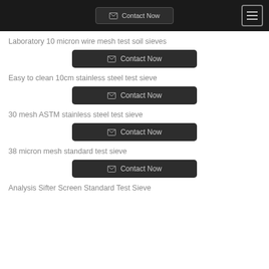Contact Now
Laboratory 10 micron wire mesh test soil sieves
Contact Now
Easy to clean 10cm stainless steel test sieve
Contact Now
30 mesh ASTM stainless steel test sieve
Contact Now
38 micron mesh standard test sieve
Contact Now
Analysis Sifter Screen Standard Test Sieve